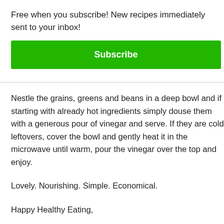Free when you subscribe! New recipes immediately sent to your inbox!
Subscribe
Nestle the grains, greens and beans in a deep bowl and if starting with already hot ingredients simply douse them with a generous pour of vinegar and serve. If they are cold leftovers, cover the bowl and gently heat it in the microwave until warm, pour the vinegar over the top and enjoy.
Lovely. Nourishing. Simple. Economical.
Happy Healthy Eating,